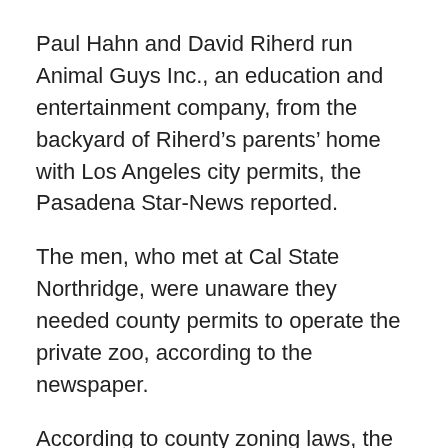Paul Hahn and David Riherd run Animal Guys Inc., an education and entertainment company, from the backyard of Riherd's parents' home with Los Angeles city permits, the Pasadena Star-News reported.
The men, who met at Cal State Northridge, were unaware they needed county permits to operate the private zoo, according to the newspaper.
According to county zoning laws, the zoo can't operate in a residential area.
Now the men are looking for a new home for their animals, or to disband the herd.
Pairs from the zoo's 12-member staff of biologists, ecologists and animal trainers daily take some of the animals to parties, classrooms, television studios and